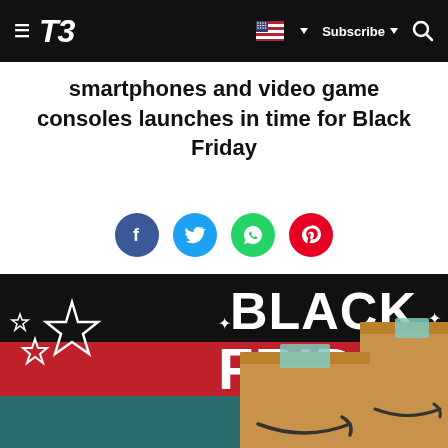T3 | Subscribe
smartphones and video game consoles launches in time for Black Friday
[Figure (illustration): Social sharing icons row: Facebook (blue), Twitter (light blue), WhatsApp (green), Pinterest (red)]
[Figure (photo): Black Friday promotional banner with two Amazon cardboard boxes with smile logo, star decorations, on a dark teal and black background with a red stripe reading BLACK FRIDAY in large white bold text]